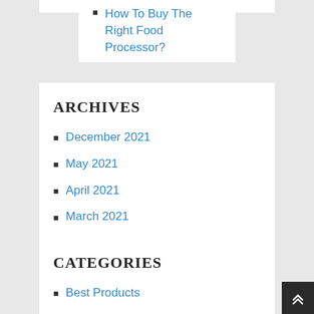How To Buy The Right Food Processor?
ARCHIVES
December 2021
May 2021
April 2021
March 2021
CATEGORIES
Best Products
Blog